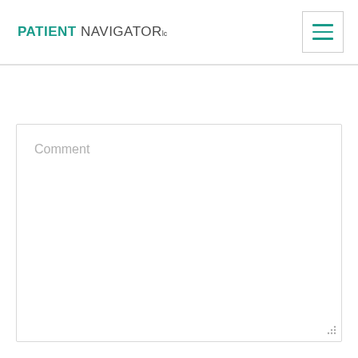PATIENT NAVIGATOR lc
[Figure (other): Hamburger menu icon with three teal horizontal lines inside a bordered square button]
Comment